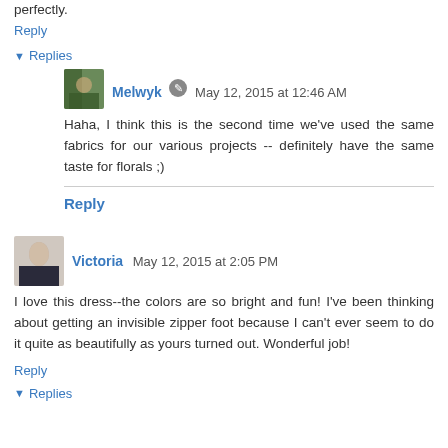perfectly.
Reply
▼ Replies
Melwyk  May 12, 2015 at 12:46 AM
Haha, I think this is the second time we've used the same fabrics for our various projects -- definitely have the same taste for florals ;)
Reply
Victoria  May 12, 2015 at 2:05 PM
I love this dress--the colors are so bright and fun! I've been thinking about getting an invisible zipper foot because I can't ever seem to do it quite as beautifully as yours turned out. Wonderful job!
Reply
▼ Replies